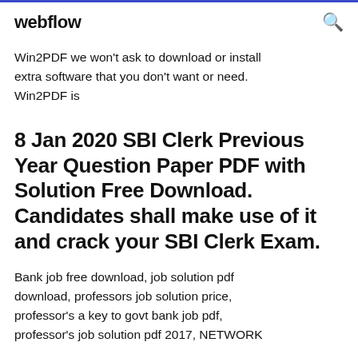webflow
Win2PDF we won't ask to download or install extra software that you don't want or need. Win2PDF is
8 Jan 2020 SBI Clerk Previous Year Question Paper PDF with Solution Free Download. Candidates shall make use of it and crack your SBI Clerk Exam.
Bank job free download, job solution pdf download, professors job solution price, professor's a key to govt bank job pdf, professor's job solution pdf 2017, NETWORK